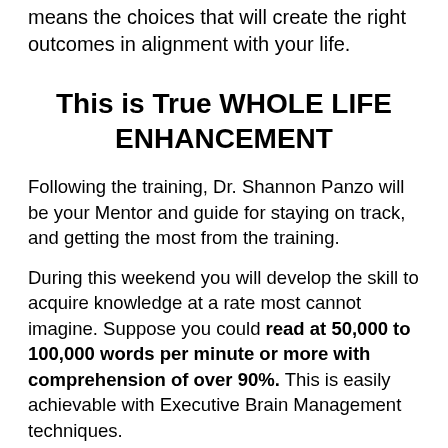means the choices that will create the right outcomes in alignment with your life.
This is True WHOLE LIFE ENHANCEMENT
Following the training, Dr. Shannon Panzo will be your Mentor and guide for staying on track, and getting the most from the training.
During this weekend you will develop the skill to acquire knowledge at a rate most cannot imagine. Suppose you could read at 50,000 to 100,000 words per minute or more with comprehension of over 90%. This is easily achievable with Executive Brain Management techniques.